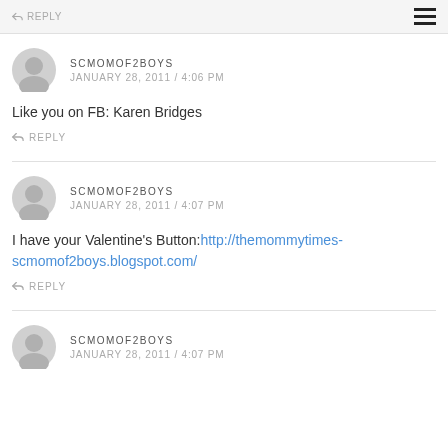REPLY
SCMOMOF2BOYS
JANUARY 28, 2011 / 4:06 PM
Like you on FB: Karen Bridges
REPLY
SCMOMOF2BOYS
JANUARY 28, 2011 / 4:07 PM
I have your Valentine's Button:http://themommytimes-scmomof2boys.blogspot.com/
REPLY
SCMOMOF2BOYS
JANUARY 28, 2011 / 4:07 PM